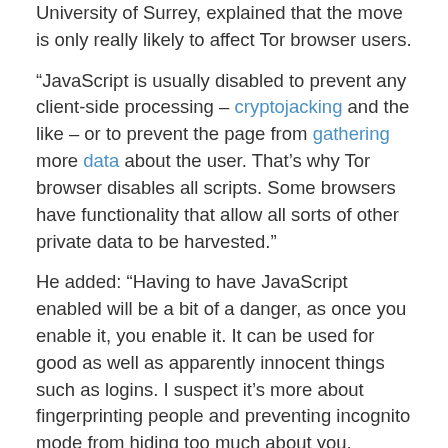University of Surrey, explained that the move is only really likely to affect Tor browser users.
“JavaScript is usually disabled to prevent any client-side processing – cryptojacking and the like – or to prevent the page from gathering more data about the user. That’s why Tor browser disables all scripts. Some browsers have functionality that allow all sorts of other private data to be harvested.”
He added: “Having to have JavaScript enabled will be a bit of a danger, as once you enable it, you enable it. It can be used for good as well as apparently innocent things such as logins. I suspect it’s more about fingerprinting people and preventing incognito mode from hiding too much about you.
“It does mean that anyone using browsers with scripts disabled (Tor browser can have it enabled but as soon as you do that you may as well not bother using Tor).”
“Most users actually complain when scripts are disabled as many of the nice features they like (everything from